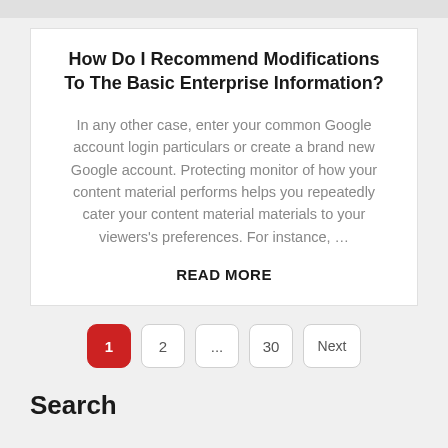How Do I Recommend Modifications To The Basic Enterprise Information?
In any other case, enter your common Google account login particulars or create a brand new Google account. Protecting monitor of how your content material performs helps you repeatedly cater your content material materials to your viewers's preferences. For instance, …
READ MORE
1  2  ...  30  Next
Search